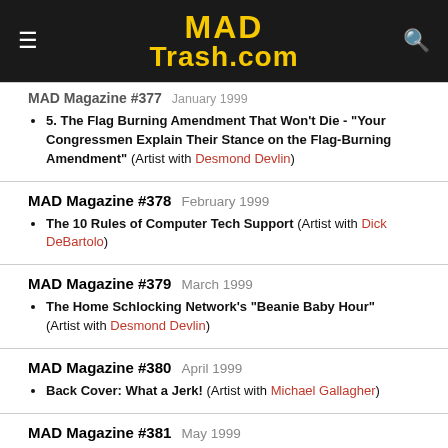MAD Trash.com
MAD Magazine #377  January 1999
5. The Flag Burning Amendment That Won't Die - "Your Congressmen Explain Their Stance on the Flag-Burning Amendment" (Artist with Desmond Devlin)
MAD Magazine #378  February 1999
The 10 Rules of Computer Tech Support (Artist with Dick DeBartolo)
MAD Magazine #379  March 1999
The Home Schlocking Network's "Beanie Baby Hour" (Artist with Desmond Devlin)
MAD Magazine #380  April 1999
Back Cover: What a Jerk! (Artist with Michael Gallagher)
MAD Magazine #381  May 1999
Brutally Honest Flight Attendant Announcements (Artist...